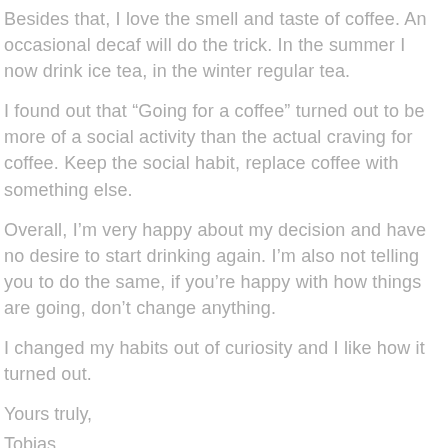Besides that, I love the smell and taste of coffee. An occasional decaf will do the trick. In the summer I now drink ice tea, in the winter regular tea.
I found out that “Going for a coffee” turned out to be more of a social activity than the actual craving for coffee. Keep the social habit, replace coffee with something else.
Overall, I’m very happy about my decision and have no desire to start drinking again. I’m also not telling you to do the same, if you’re happy with how things are going, don’t change anything.
I changed my habits out of curiosity and I like how it turned out.
Yours truly,
Tobias
(http://www.huffingtonpost.com/tobias-van-schneider/no-alcohol-no-coffee-for-15-months-this-is-what-happened_b_8723958.html?ncid=fcbklnkushpmg00000063&ir=Australia)